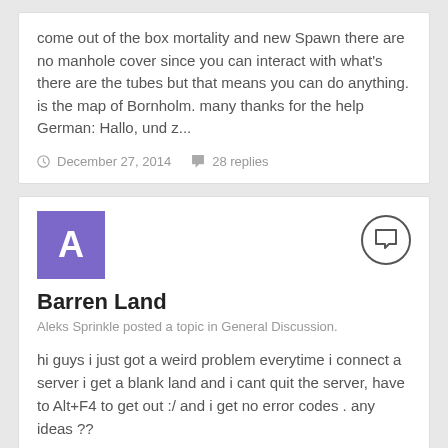come out of the box mortality and new Spawn there are no manhole cover since you can interact with what's there are the tubes but that means you can do anything. is the map of Bornholm. many thanks for the help German: Hallo, und z...
December 27, 2014   28 replies
[Figure (other): Purple square avatar with white letter A]
Barren Land
Aleks Sprinkle posted a topic in General Discussion.
hi guys i just got a weird problem everytime i connect a server i get a blank land and i cant quit the server, have to Alt+F4 to get out :/ and i get no error codes . any ideas ??
January 15, 2016